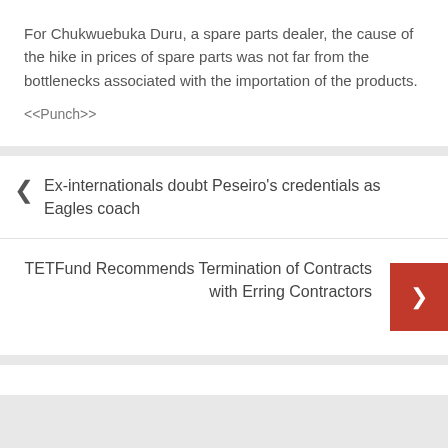For Chukwuebuka Duru, a spare parts dealer, the cause of the hike in prices of spare parts was not far from the bottlenecks associated with the importation of the products.
<<Punch>>
Ex-internationals doubt Peseiro's credentials as Eagles coach
TETFund Recommends Termination of Contracts with Erring Contractors